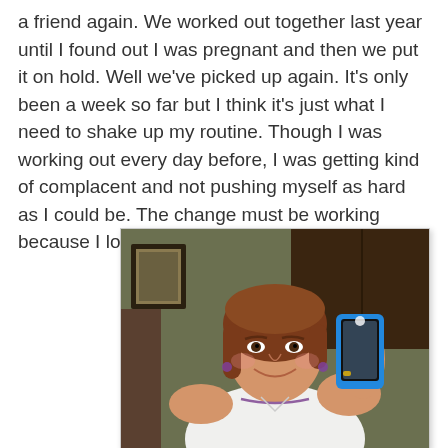a friend again. We worked out together last year until I found out I was pregnant and then we put it on hold. Well we've picked up again. It's only been a week so far but I think it's just what I need to shake up my routine. Though I was working out every day before, I was getting kind of complacent and not pushing myself as hard as I could be. The change must be working because I lost 3 lbs. just this week!
[Figure (photo): Woman taking a mirror selfie with a blue smartphone case, wearing a white sleeveless top and necklace, with brown shoulder-length hair, smiling. Background shows dark wood cabinets and a framed picture on wall.]